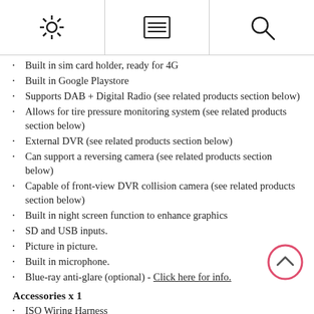[settings icon] [menu icon] [search icon]
Built in sim card holder, ready for 4G
Built in Google Playstore
Supports DAB + Digital Radio (see related products section below)
Allows for tire pressure monitoring system (see related products section below)
External DVR (see related products section below)
Can support a reversing camera (see related products section below)
Capable of front-view DVR collision camera (see related products section below)
Built in night screen function to enhance graphics
SD and USB inputs.
Picture in picture.
Built in microphone.
Blue-ray anti-glare (optional) - Click here for info.
Accessories x 1
ISO Wiring Harness